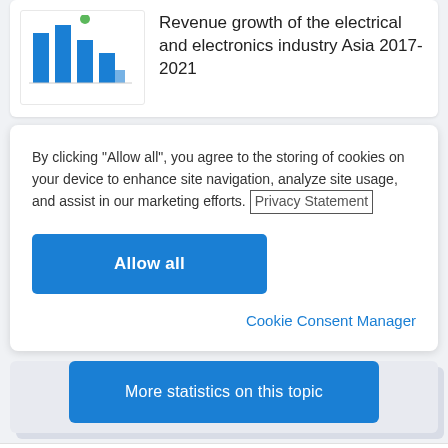[Figure (bar-chart): Thumbnail bar chart showing revenue growth data]
Revenue growth of the electrical and electronics industry Asia 2017-2021
By clicking “Allow all”, you agree to the storing of cookies on your device to enhance site navigation, analyze site usage, and assist in our marketing efforts. Privacy Statement
Allow all
Cookie Consent Manager
More statistics on this topic
Statistics on “Electrical and electronics (E&E) industry in Malaysia - Overview”